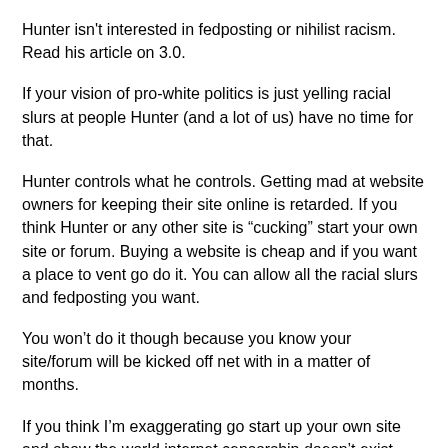Hunter isn't interested in fedposting or nihilist racism. Read his article on 3.0.
If your vision of pro-white politics is just yelling racial slurs at people Hunter (and a lot of us) have no time for that.
Hunter controls what he controls. Getting mad at website owners for keeping their site online is retarded. If you think Hunter or any other site is “cucking” start your own site or forum. Buying a website is cheap and if you want a place to vent go do it. You can allow all the racial slurs and fedposting you want.
You won’t do it though because you know your site/forum will be kicked off net with in a matter of months.
If you think I’m exaggerating go start up your own site and show the world internet censorship doesn’t exist.
*Even without internet censorship i would oppose fedposting